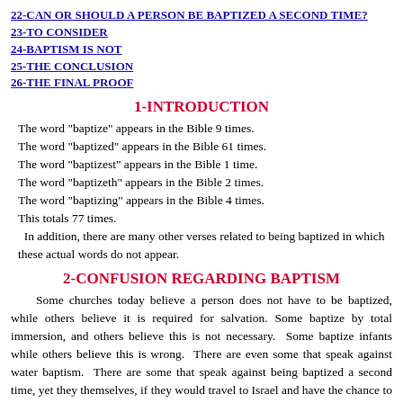22-CAN OR SHOULD A PERSON BE BAPTIZED A SECOND TIME?
23-TO CONSIDER
24-BAPTISM IS NOT
25-THE CONCLUSION
26-THE FINAL PROOF
1-INTRODUCTION
The word "baptize" appears in the Bible 9 times.
The word "baptized" appears in the Bible 61 times.
The word "baptizest" appears in the Bible 1 time.
The word "baptizeth" appears in the Bible 2 times.
The word "baptizing" appears in the Bible 4 times.
This totals 77 times.
In addition, there are many other verses related to being baptized in which these actual words do not appear.
2-CONFUSION REGARDING BAPTISM
Some churches today believe a person does not have to be baptized, while others believe it is required for salvation. Some baptize by total immersion, and others believe this is not necessary. Some baptize infants while others believe this is wrong. There are even some that speak against water baptism. There are some that speak against being baptized a second time, yet they themselves, if they would travel to Israel and have the chance to be baptized in the Jordan River, may run to be baptized a second or even a third time.
The answer lies not in a denomination, not in the traditions of men, but in God's Word only. Jesus warned us that the traditions of men make God's Word of none...